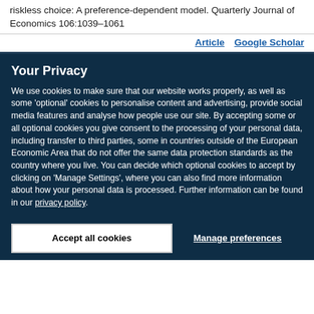riskless choice: A preference-dependent model. Quarterly Journal of Economics 106:1039–1061
Article   Google Scholar
Your Privacy
We use cookies to make sure that our website works properly, as well as some 'optional' cookies to personalise content and advertising, provide social media features and analyse how people use our site. By accepting some or all optional cookies you give consent to the processing of your personal data, including transfer to third parties, some in countries outside of the European Economic Area that do not offer the same data protection standards as the country where you live. You can decide which optional cookies to accept by clicking on 'Manage Settings', where you can also find more information about how your personal data is processed. Further information can be found in our privacy policy.
Accept all cookies
Manage preferences